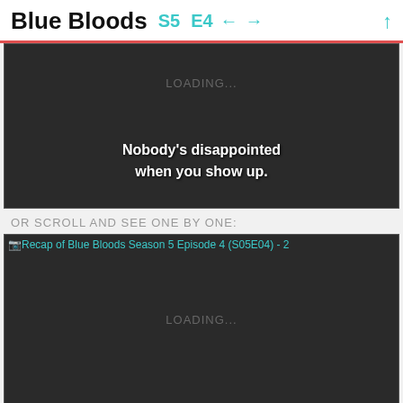Blue Bloods  S5  E4  ← →  ↑
[Figure (screenshot): Dark video player with LOADING... text and subtitle 'Nobody's disappointed when you show up.']
OR SCROLL AND SEE ONE BY ONE:
[Figure (screenshot): Dark video player showing image alt text 'Recap of Blue Bloods Season 5 Episode 4 (S05E04) - 2' with LOADING... text]